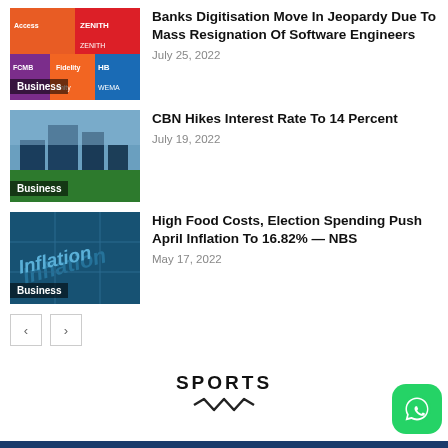[Figure (photo): Thumbnail of bank logos including Access, Zenith, FCMB, Fidelity, Unity, Wema with Business badge]
Banks Digitisation Move In Jeopardy Due To Mass Resignation Of Software Engineers
July 25, 2022
[Figure (photo): Thumbnail of CBN building exterior with Business badge]
CBN Hikes Interest Rate To 14 Percent
July 19, 2022
[Figure (photo): Thumbnail of Inflation text on blue tiles with Business badge]
High Food Costs, Election Spending Push April Inflation To 16.82% — NBS
May 17, 2022
SPORTS